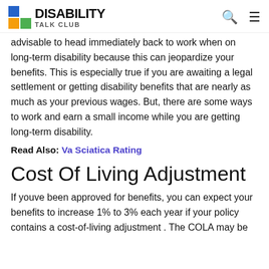DISABILITY TALK CLUB
advisable to head immediately back to work when on long-term disability because this can jeopardize your benefits. This is especially true if you are awaiting a legal settlement or getting disability benefits that are nearly as much as your previous wages. But, there are some ways to work and earn a small income while you are getting long-term disability.
Read Also: Va Sciatica Rating
Cost Of Living Adjustment
If youve been approved for benefits, you can expect your benefits to increase 1% to 3% each year if your policy contains a cost-of-living adjustment . The COLA may be